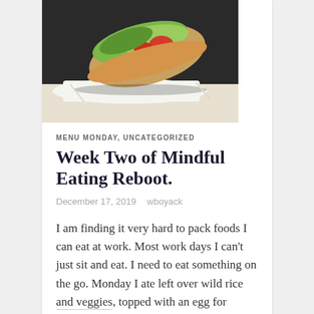[Figure (photo): Close-up photo of a wrap/burrito filled with lettuce, tomatoes, and other vegetables, wrapped in white paper]
MENU MONDAY, UNCATEGORIZED
Week Two of Mindful Eating Reboot.
December 17, 2019   wboyack
I am finding it very hard to pack foods I can eat at work. Most work days I can't just sit and eat. I need to eat something on the go. Monday I ate left over wild rice and veggies, topped with an egg for breakfast. For lunch I ate a protein bar and the… Continue reading